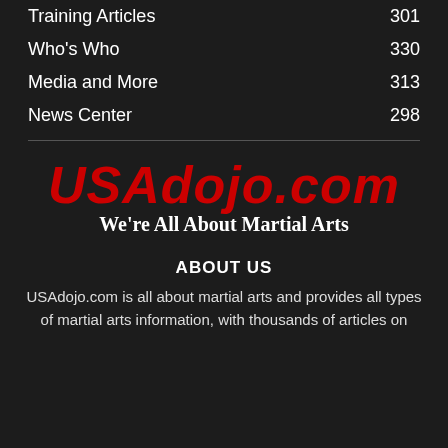Training Articles  301
Who's Who  330
Media and More  313
News Center  298
[Figure (logo): USAdojo.com logo with tagline 'We're All About Martial Arts']
ABOUT US
USAdojo.com is all about martial arts and provides all types of martial arts information, with thousands of articles on